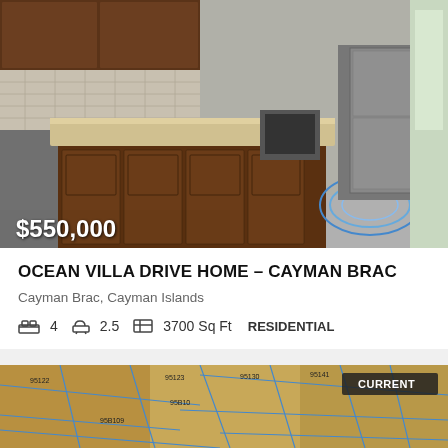[Figure (photo): Interior kitchen photo of a home showing a large wood kitchen island with granite countertop, dark wood cabinets, stainless steel appliances, tile backsplash, and decorative rug on grey floor. Price overlay $550,000 in bottom left, expand and add icons in bottom right, CREPA watermark.]
OCEAN VILLA DRIVE HOME – CAYMAN BRAC
Cayman Brac, Cayman Islands
4   2.5   3700 Sq Ft   RESIDENTIAL
[Figure (map): Aerial/satellite map view showing land parcels with blue boundary lines on brownish terrain. A 'CURRENT' badge appears in the upper right of the image.]